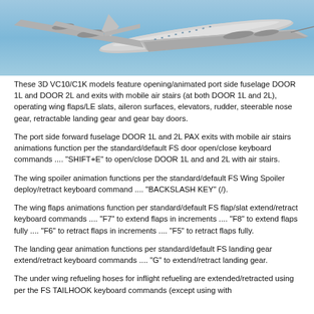[Figure (photo): Aerial photograph of a VC10/C1K aircraft in flight against a blue sky, seen from below and slightly to the side, with a refueling probe visible at the nose.]
These 3D VC10/C1K models feature opening/animated port side fuselage DOOR 1L and DOOR 2L and exits with mobile air stairs (at both DOOR 1L and 2L), operating wing flaps/LE slats, aileron surfaces, elevators, rudder, steerable nose gear, retractable landing gear and gear bay doors.
The port side forward fuselage DOOR 1L and 2L PAX exits with mobile air stairs animations function per the standard/default FS door open/close keyboard commands .... "SHIFT+E" to open/close DOOR 1L and and 2L with air stairs.
The wing spoiler animation functions per the standard/default FS Wing Spoiler deploy/retract keyboard command .... "BACKSLASH KEY" (/).
The wing flaps animations function per standard/default FS flap/slat extend/retract keyboard commands .... "F7" to extend flaps in increments .... "F8" to extend flaps fully .... "F6" to retract flaps in increments .... "F5" to retract flaps fully.
The landing gear animation functions per standard/default FS landing gear extend/retract keyboard commands .... "G" to extend/retract landing gear.
The under wing refueling hoses for inflight refueling are extended/retracted using per the FS TAILHOOK keyboard commands (except using with